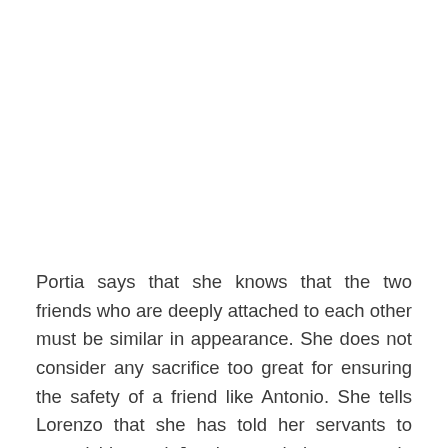Portia says that she knows that the two friends who are deeply attached to each other must be similar in appearance. She does not consider any sacrifice too great for ensuring the safety of a friend like Antonio. She tells Lorenzo that she has told her servants to regard him and Jessica as their masters in her absence. Lorenzo and